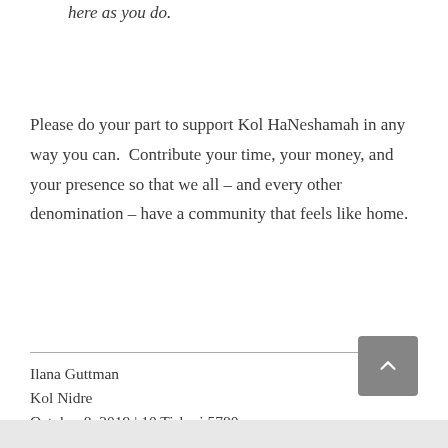...how. Let us help them feel as welcome here as you do.
Please do your part to support Kol HaNeshamah in any way you can.  Contribute your time, your money, and your presence so that we all – and every other denomination – have a community that feels like home.
Ilana Guttman
Kol Nidre
October 8, 2019 | 10 Tishrei 5780